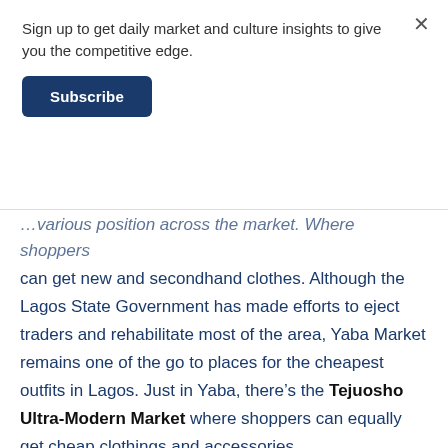Sign up to get daily market and culture insights to give you the competitive edge.
Subscribe
can get new and secondhand clothes. Although the Lagos State Government has made efforts to eject traders and rehabilitate most of the area, Yaba Market remains one of the go to places for the cheapest outfits in Lagos. Just in Yaba, there’s the Tejuosho Ultra-Modern Market where shoppers can equally get cheap clothings and accessories.
2. Balogun Market: If you are looking to buy cheap shoes, fabrics, and already-made outfits, Balogun